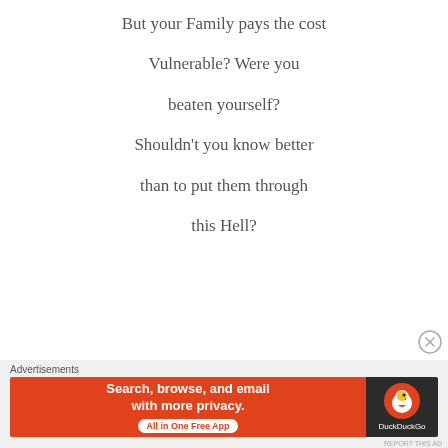But your Family pays the cost
Vulnerable? Were you
beaten yourself?
Shouldn't you know better
than to put them through
this Hell?
[Figure (screenshot): Advertisement banner for DuckDuckGo: orange left panel with white bold text 'Search, browse, and email with more privacy. All in One Free App' and dark right panel with DuckDuckGo logo and name.]